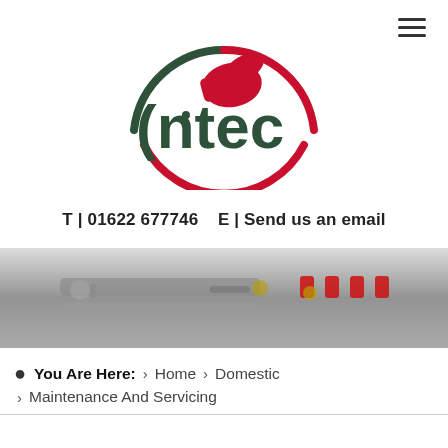[Figure (logo): Intec logo with red hand/wrench icon above dark green text reading '(ntec']
T | 01622 677746   E | Send us an email
[Figure (photo): Close-up photograph of plumbing valves and pipes with red handles and metal components]
You Are Here:  >  Home  >  Domestic  >  Maintenance And Servicing